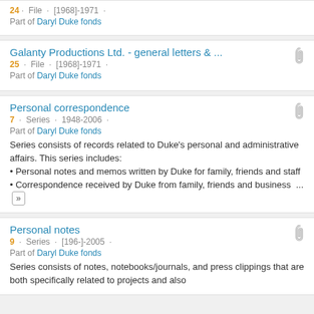24 · File · [1968]-1971 · Part of Daryl Duke fonds
Galanty Productions Ltd. - general letters & ... 25 · File · [1968]-1971 · Part of Daryl Duke fonds
Personal correspondence 7 · Series · 1948-2006 · Part of Daryl Duke fonds Series consists of records related to Duke's personal and administrative affairs. This series includes: • Personal notes and memos written by Duke for family, friends and staff • Correspondence received by Duke from family, friends and business ...
Personal notes 9 · Series · [196-]-2005 · Part of Daryl Duke fonds Series consists of notes, notebooks/journals, and press clippings that are both specifically related to projects and also